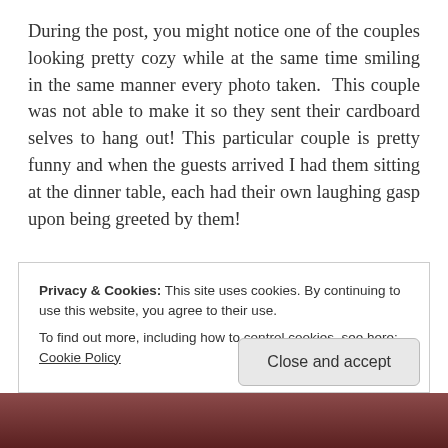During the post, you might notice one of the couples looking pretty cozy while at the same time smiling in the same manner every photo taken. This couple was not able to make it so they sent their cardboard selves to hang out! This particular couple is pretty funny and when the guests arrived I had them sitting at the dinner table, each had their own laughing gasp upon being greeted by them!
Privacy & Cookies: This site uses cookies. By continuing to use this website, you agree to their use.
To find out more, including how to control cookies, see here: Cookie Policy
Close and accept
[Figure (photo): Bottom strip showing partial view of people, dark reddish background]